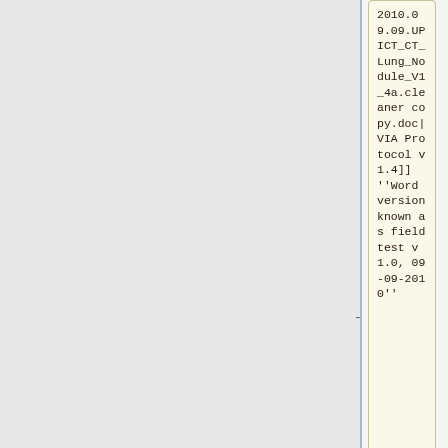2010.09.09.UPICT_CT_Lung_Nodule_V1_4a.cleaner copy.doc|VIA Protocol v1.4]] ''Word version known as field test v1.0, 09-09-2010''
*[[Media:2010.09.09_UPICT_V1_4_1_FIELD_TEST.doc|VIA Protocol v1.4.1]] ''(Early